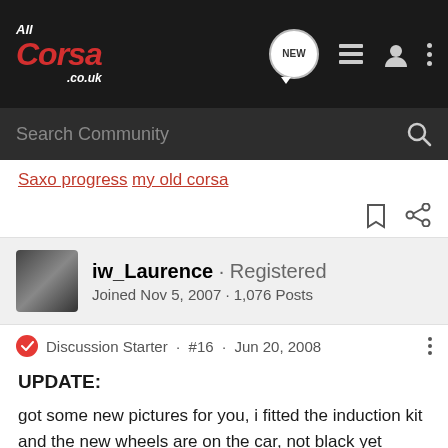AllCorsa.co.uk · Search Community
Saxo progress
my old corsa
iw_Laurence · Registered
Joined Nov 5, 2007 · 1,076 Posts
Discussion Starter · #16 · Jun 20, 2008
UPDATE:
got some new pictures for you, i fitted the induction kit and the new wheels are on the car, not black yet though. i really think these wheels suit the saxo. going black in the next couple of weeks hopefully...